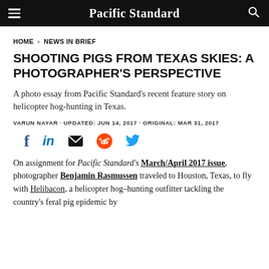Pacific Standard
HOME > NEWS IN BRIEF
SHOOTING PIGS FROM TEXAS SKIES: A PHOTOGRAPHER'S PERSPECTIVE
A photo essay from Pacific Standard's recent feature story on helicopter hog-hunting in Texas.
VARUN NAYAR · UPDATED: JUN 14, 2017 · ORIGINAL: MAR 31, 2017
[Figure (infographic): Social sharing icons: Facebook, LinkedIn, Email, Reddit, Twitter]
On assignment for Pacific Standard's March/April 2017 issue, photographer Benjamin Rasmussen traveled to Houston, Texas, to fly with Helibacon, a helicopter hog-hunting outfitter tackling the country's feral pig epidemic by